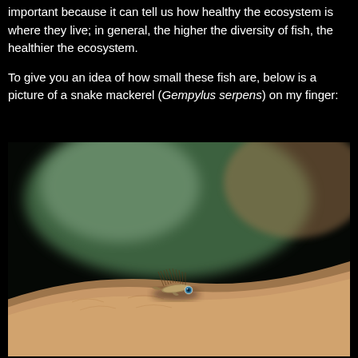important because it can tell us how healthy the ecosystem is where they live; in general, the higher the diversity of fish, the healthier the ecosystem.
To give you an idea of how small these fish are, below is a picture of a snake mackerel (Gempylus serpens) on my finger:
[Figure (photo): Close-up photograph of a tiny snake mackerel (Gempylus serpens) larval fish resting on a human finger. The tiny fish has spiny dorsal fins and a visible blue eye. The background is blurred with green and beige/brown tones.]